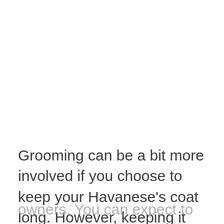Grooming can be a bit more involved if you choose to keep your Havanese's coat long. However, keeping it clipped short is more manageable for most dog owners. You can expect to keep your dog looking and feeling good with a daily